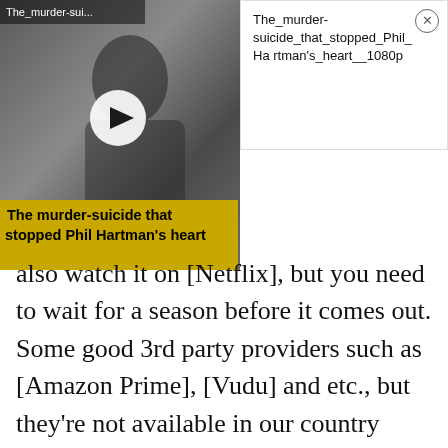[Figure (screenshot): Video thumbnail showing a black and white photo of a man with a yellow play button overlay. Top left label reads 'The_murder-sui...'. Bottom caption bar in yellow reads 'The murder-suicide that stopped Phil Hartman's heart'.]
The_murder-suicide_that_stopped_Phil_Hartman's_heart__1080p
also watch it on [Netflix], but you need to wait for a season before it comes out. Some good 3rd party providers such as [Amazon Prime], [Vudu] and etc., but they're not available in our country right now. At the moment, Hulu is the only place where you can watch Jackass Forever online.
But wait, there's a catch. Hulu has no full seasons of Jackass Forever available right now. As of this writing, all they have are five episodes which make up 1 season. If you ask us, 1 season isn't